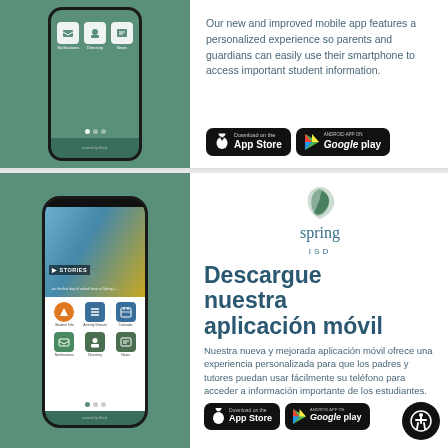[Figure (screenshot): Smartphone showing a mobile app with student info icons on green background]
Our new and improved mobile app features a personalized experience so parents and guardians can easily use their smartphone to access important student information.
[Figure (screenshot): Download on the App Store button]
[Figure (screenshot): Android App on Google Play button]
[Figure (screenshot): Smartphone showing Spring ISD mobile app with student stories and navigation icons on green background]
[Figure (logo): Spring ISD logo with green leaf-like swirl icon and text 'spring ISD']
Descargue nuestra aplicación móvil
Nuestra nueva y mejorada aplicación móvil ofrece una experiencia personalizada para que los padres y tutores puedan usar fácilmente su teléfono para acceder a información importante de los estudiantes.
[Figure (screenshot): Download on the App Store and Google Play buttons (Spanish section)]